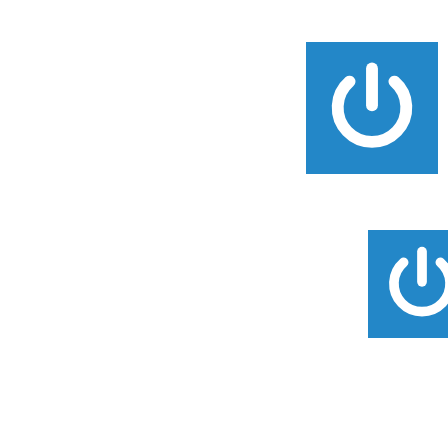[Figure (other): Blue square avatar with white power button icon]
Ben
October 4, 2012, 11:11 pm |
Tonight's ritual must go o
[Figure (other): Blue square avatar with white power button icon]
Ben
October 4, 20
It seemed li
[Figure (other): Blue square avatar with white power button icon]
Ben
October
You we
[Figure (other): Blue square avatar with white power button icon]
Ben
October
You
[Figure (other): Blue square avatar with white power button icon]
Ben
October 4, 20
Your fortune
friends, the
[Figure (other): Blue square avatar with white power button icon (partial, bottom)]